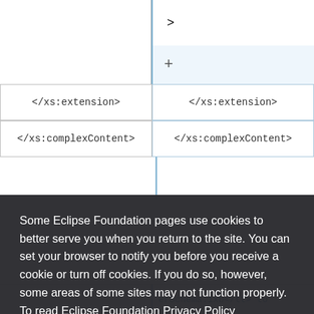[Figure (screenshot): Screenshot of an Eclipse documentation page showing a code comparison table with XML schema extension tags. A cookie consent overlay covers the lower portion, with text about Eclipse Foundation cookies, a 'click here' link for privacy policy, and 'Decline'/'Allow cookies' buttons.]
Some Eclipse Foundation pages use cookies to better serve you when you return to the site. You can set your browser to notify you before you receive a cookie or turn off cookies. If you do so, however, some areas of some sites may not function properly. To read Eclipse Foundation Privacy Policy click here.